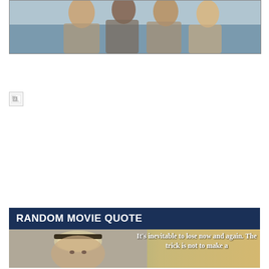[Figure (photo): Photo of a group of people outdoors, appearing to look up or pose together]
[Figure (photo): Broken/missing image placeholder icon]
[Figure (illustration): Random Movie Quote card with a dark blue header reading RANDOM MOVIE QUOTE and an image of a man wearing a panama hat with overlaid white bold text: It's inevitable to lose now and again. The trick is not to make a]